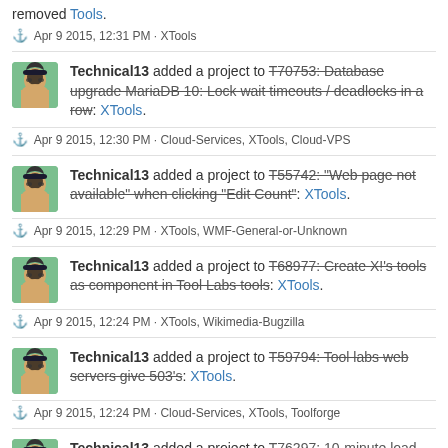removed Tools.
⚓ Apr 9 2015, 12:31 PM · XTools
Technical13 added a project to T70753: Database upgrade MariaDB 10: Lock wait timeouts / deadlocks in a row: XTools.
⚓ Apr 9 2015, 12:30 PM · Cloud-Services, XTools, Cloud-VPS
Technical13 added a project to T55742: "Web page not available" when clicking "Edit Count": XTools.
⚓ Apr 9 2015, 12:29 PM · XTools, WMF-General-or-Unknown
Technical13 added a project to T68977: Create X!'s tools as component in Tool Labs tools: XTools.
⚓ Apr 9 2015, 12:24 PM · XTools, Wikimedia-Bugzilla
Technical13 added a project to T59794: Tool labs web servers give 503's: XTools.
⚓ Apr 9 2015, 12:24 PM · Cloud-Services, XTools, Toolforge
Technical13 added a project to T76297: 10-minute load times